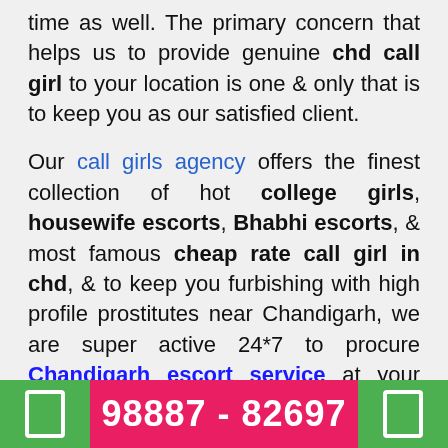time as well. The primary concern that helps us to provide genuine chd call girl to your location is one & only that is to keep you as our satisfied client.
Our call girls agency offers the finest collection of hot college girls, housewife escorts, Bhabhi escorts, & most famous cheap rate call girl in chd, & to keep you furbishing with high profile prostitutes near Chandigarh, we are super active 24*7 to procure Chandigarh escort service at your locations.
Chandigarh call girl agency promotes ads for
98887 - 82697